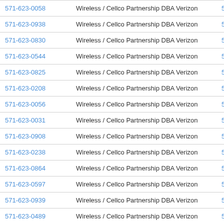| Phone Number | Carrier | Code |
| --- | --- | --- |
| 571-623-0058 | Wireless / Cellco Partnership DBA Verizon Wireless | 5716 |
| 571-623-0938 | Wireless / Cellco Partnership DBA Verizon Wireless | 5716 |
| 571-623-0830 | Wireless / Cellco Partnership DBA Verizon Wireless | 5716 |
| 571-623-0544 | Wireless / Cellco Partnership DBA Verizon Wireless | 5716 |
| 571-623-0825 | Wireless / Cellco Partnership DBA Verizon Wireless | 5716 |
| 571-623-0208 | Wireless / Cellco Partnership DBA Verizon Wireless | 5716 |
| 571-623-0056 | Wireless / Cellco Partnership DBA Verizon Wireless | 5716 |
| 571-623-0031 | Wireless / Cellco Partnership DBA Verizon Wireless | 5716 |
| 571-623-0908 | Wireless / Cellco Partnership DBA Verizon Wireless | 5716 |
| 571-623-0238 | Wireless / Cellco Partnership DBA Verizon Wireless | 5716 |
| 571-623-0864 | Wireless / Cellco Partnership DBA Verizon Wireless | 5716 |
| 571-623-0597 | Wireless / Cellco Partnership DBA Verizon Wireless | 5716 |
| 571-623-0939 | Wireless / Cellco Partnership DBA Verizon Wireless | 5716 |
| 571-623-0489 | Wireless / Cellco Partnership DBA Verizon Wireless | 5716 |
| 571-623-0156 | Wireless / Cellco Partnership DBA Verizon Wireless | ▲ 16 |
| 571-623-0072 | Wireless / Cellco Partnership DBA Verizon Wireless | 5716 |
| 571-623-0987 | Wireless / Cellco Partnership DBA Verizon Wireless | 5716 |
| 571-623-0488 | Wireless / Cellco Partnership DBA Verizon Wireless | 5716 |